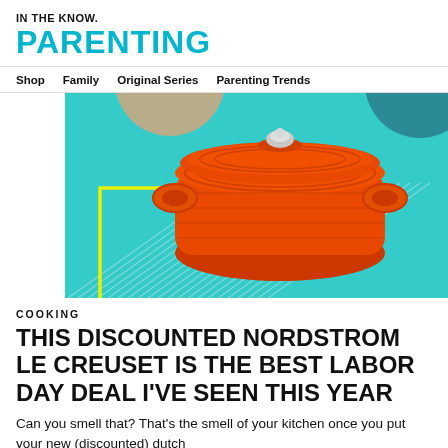IN THE KNOW.
PARENTING
Shop   Family   Original Series   Parenting Trends
[Figure (illustration): A colorful graphic showing a red-orange Le Creuset dutch oven on a teal and white background with yellow geometric outlines and abstract shapes.]
COOKING
THIS DISCOUNTED NORDSTROM LE CREUSET IS THE BEST LABOR DAY DEAL I'VE SEEN THIS YEAR
Can you smell that? That’s the smell of your kitchen once you put your new (discounted) dutch